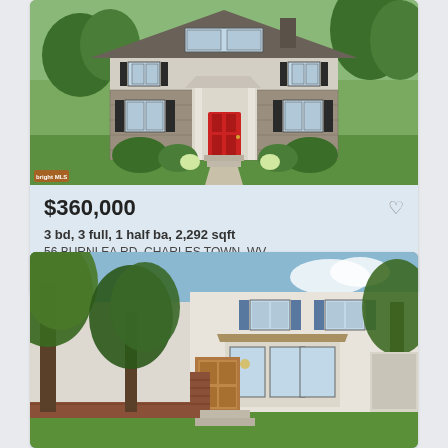[Figure (photo): Exterior photo of a two-story colonial-style home with stone and siding facade, red front door, black shutters, and green landscaping]
$360,000
3 bd, 3 full, 1 half ba, 2,292 sqft
56 BURNLEA RD, CHARLES TOWN, WV
Courtesy of Kable Team Realty
[Figure (photo): Exterior photo of a townhouse or colonial home with brick base, wood-tone front entry, blue shutters, white siding, and mature trees in foreground]